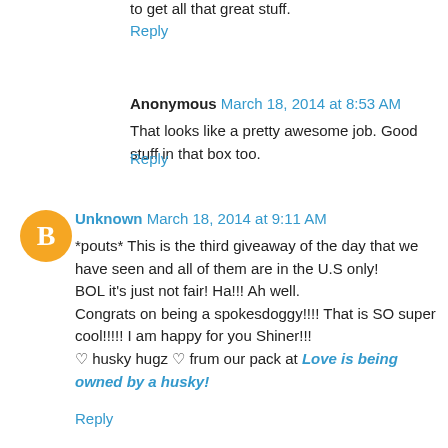to get all that great stuff.
Reply
Anonymous March 18, 2014 at 8:53 AM
That looks like a pretty awesome job. Good stuff in that box too.
Reply
Unknown March 18, 2014 at 9:11 AM
*pouts* This is the third giveaway of the day that we have seen and all of them are in the U.S only!
BOL it's just not fair! Ha!!! Ah well.
Congrats on being a spokesdoggy!!!! That is SO super cool!!!!! I am happy for you Shiner!!!

♡ husky hugz ♡ frum our pack at Love is being owned by a husky!
Reply